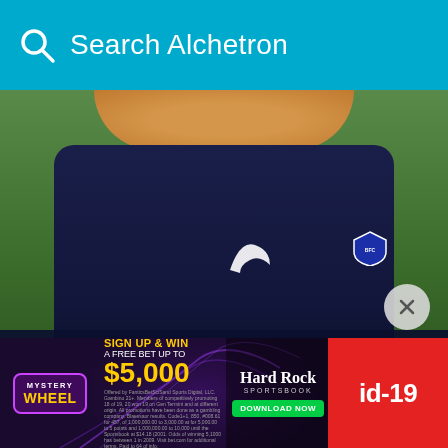Search Alchetron
[Figure (photo): Photo of Marc Planus wearing a dark navy Puma shirt with a Bordeaux football club badge, photographed outdoors with green foliage in background. Lower portion has a dark overlay with his name.]
Marc Planus
[Figure (illustration): French tricolor flag with vertical blue, white, and red stripes]
[Figure (screenshot): Hard Rock Sportsbook advertisement banner: Mystery Wheel - Sign Up & Win A Free Bet Up To $5,000 - Download Now]
id-19